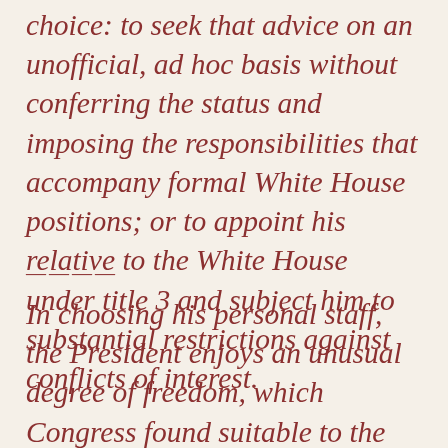choice: to seek that advice on an unofficial, ad hoc basis without conferring the status and imposing the responsibilities that accompany formal White House positions; or to appoint his relative to the White House under title 3 and subject him to substantial restrictions against conflicts of interest.
———
In choosing his personal staff, the President enjoys an unusual degree of freedom, which Congress found suitable to the demands of his office. Any appointment to that staff, however,